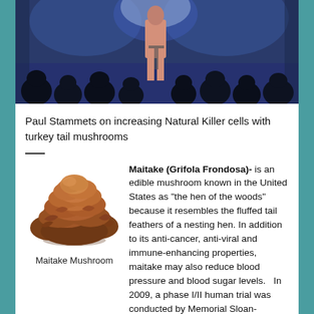[Figure (photo): Photo of a person speaking on a stage at a conference, seen from behind the audience silhouettes, with blue stage lighting]
Paul Stammets on increasing Natural Killer cells with turkey tail mushrooms
[Figure (photo): Photo of a Maitake mushroom cluster, brown layered fungus]
Maitake Mushroom
Maitake (Grifola Frondosa)- is an edible mushroom known in the United States as "the hen of the woods" because it resembles the fluffed tail feathers of a nesting hen. In addition to its anti-cancer, anti-viral and immune-enhancing properties, maitake may also reduce blood pressure and blood sugar levels.   In 2009, a phase I/II human trial was conducted by Memorial Sloan-Kettering Cancer Center, and it showed that maitake extract